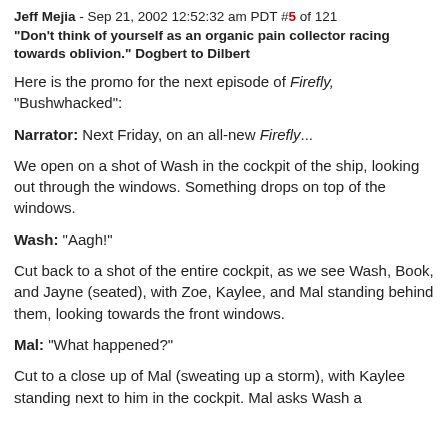Jeff Mejia - Sep 21, 2002 12:52:32 am PDT #5 of 121
"Don't think of yourself as an organic pain collector racing towards oblivion." Dogbert to Dilbert
Here is the promo for the next episode of Firefly, "Bushwhacked":
Narrator: Next Friday, on an all-new Firefly...
We open on a shot of Wash in the cockpit of the ship, looking out through the windows. Something drops on top of the windows.
Wash: "Aagh!"
Cut back to a shot of the entire cockpit, as we see Wash, Book, and Jayne (seated), with Zoe, Kaylee, and Mal standing behind them, looking towards the front windows.
Mal: "What happened?"
Cut to a close up of Mal (sweating up a storm), with Kaylee standing next to him in the cockpit. Mal asks Wash a